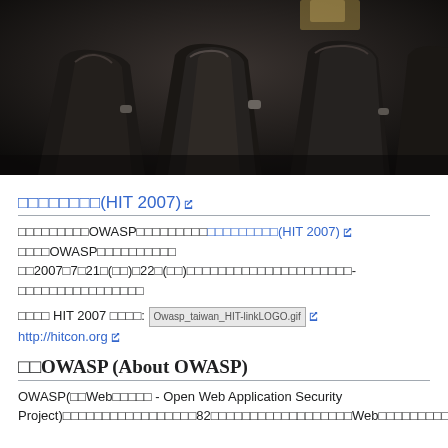[Figure (photo): Dark photo of auditorium/conference chairs viewed from above at an angle, close-up of seat backs in a dark setting]
□□□□□□□□(HIT 2007) [external link]
□□□□□□□□□OWASP□□□□□□□□□□□□□□□□□(HIT 2007) [link] □□□□OWASP□□□□□□□□□□ □□2007□7□21□(□□)□22□(□□)□□□□□□□□□□□□□□□□□□□□□-□□□□□□□□□□□□□□□□
□□□□ HIT 2007 □□□□: [Owasp_taiwan_HIT-linkLOGO.gif] http://hitcon.org
□□OWASP (About OWASP)
OWASP(□□Web□□□□□ - Open Web Application Security Project)□□□□□□□□□□□□□□□□□82□□□□□□□□□□□□□□□□□□Web□□□□□□□□□□□□□□□□□□□□□□□□□□□□□□□□□□□□□□□□□□□□□□□□□□□□□□□□□□□□□□□□□□□□□□□□□□□□□□□□□□□□□□□□□□□□□□□□□□□□□□□□□□